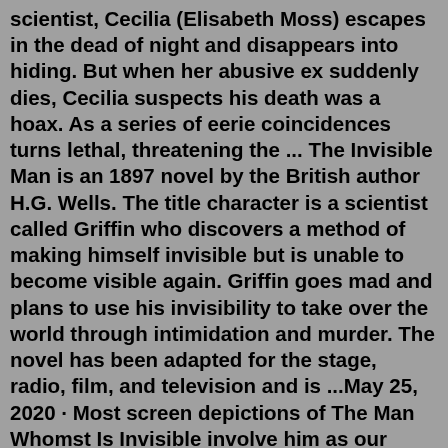scientist, Cecilia (Elisabeth Moss) escapes in the dead of night and disappears into hiding. But when her abusive ex suddenly dies, Cecilia suspects his death was a hoax. As a series of eerie coincidences turns lethal, threatening the ... The Invisible Man is an 1897 novel by the British author H.G. Wells. The title character is a scientist called Griffin who discovers a method of making himself invisible but is unable to become visible again. Griffin goes mad and plans to use his invisibility to take over the world through intimidation and murder. The novel has been adapted for the stage, radio, film, and television and is ...May 25, 2020 · Most screen depictions of The Man Whomst Is Invisible involve him as our sympathetic antihero -- think the iconography of "bandages, sunglasses, hat, and coat," as established by James Whale's ... From the twentieth century's first great practitioner of the novel of ideas comes a consummate masterpiece of science fiction about a man trapped in the terror of his own creation. A stranger emerges out of a freezing February day with a request for lodging in a cosy...